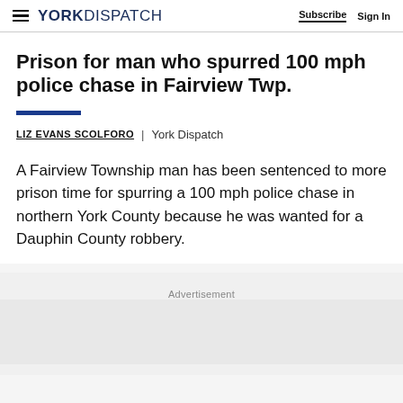YORK DISPATCH | Subscribe  Sign In
Prison for man who spurred 100 mph police chase in Fairview Twp.
LIZ EVANS SCOLFORO | York Dispatch
A Fairview Township man has been sentenced to more prison time for spurring a 100 mph police chase in northern York County because he was wanted for a Dauphin County robbery.
Advertisement